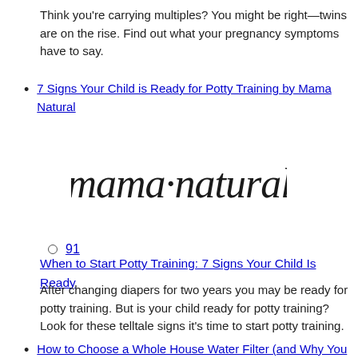Think you're carrying multiples? You might be right—twins are on the rise. Find out what your pregnancy symptoms have to say.
7 Signs Your Child is Ready for Potty Training by Mama Natural
[Figure (logo): Mama Natural handwritten script logo in dark/black ink]
91
When to Start Potty Training: 7 Signs Your Child Is Ready
After changing diapers for two years you may be ready for potty training. But is your child ready for potty training? Look for these telltale signs it's time to start potty training.
How to Choose a Whole House Water Filter (and Why You